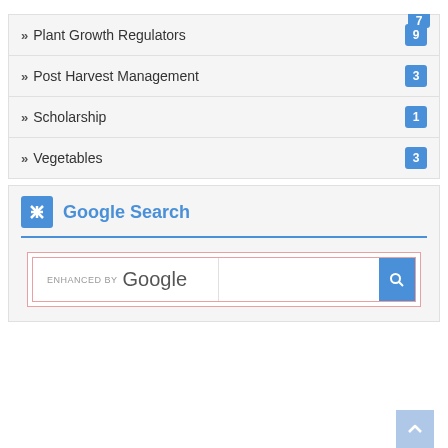Plant Growth Regulators 9
Post Harvest Management 3
Scholarship 1
Vegetables 3
Google Search
[Figure (screenshot): Google search widget with 'ENHANCED BY Google' text and a search button]